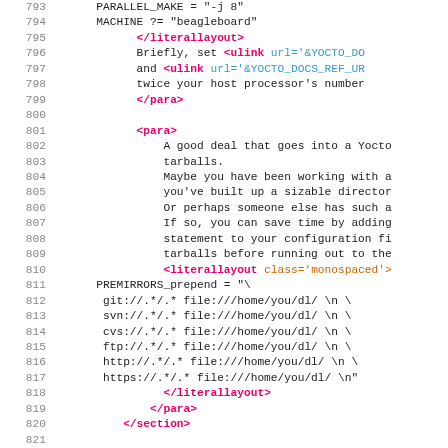[Figure (screenshot): Source code editor view showing XML markup with line numbers 793-822. Lines contain XML tags in pink/red, attribute values in orange/teal, and plain text in dark gray, displayed in monospace font on white background.]